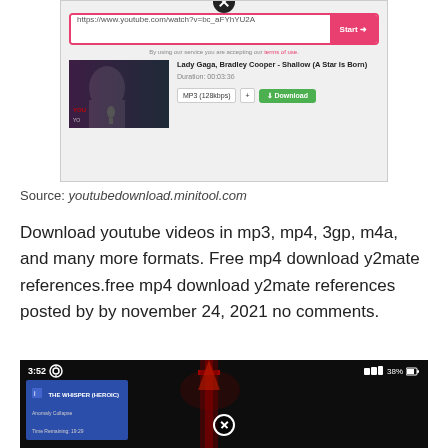[Figure (screenshot): YouTube downloader interface showing URL bar with 'https://www.youtube.com/watch?v=bc_aFYhYU2A', a Start button, terms of use note, Lady Gaga Bradley Cooper Shallow video thumbnail, duration 00:03:36, MP3 128kbps format selector and Download button]
Source: youtubedownload.minitool.com
Download youtube videos in mp3, mp4, 3gp, m4a, and many more formats. Free mp4 download y2mate references.free mp4 download y2mate references posted by by november 24, 2021 no comments.
[Figure (screenshot): Mobile screen showing 3:52 time, 38% battery, dark background with red sword/weapon visual, notification overlay showing 'THE WHISPER (HEROIC)' with 'Anomaly Collapse' and 'Time Remaining: 19:29', and a close button at bottom center]